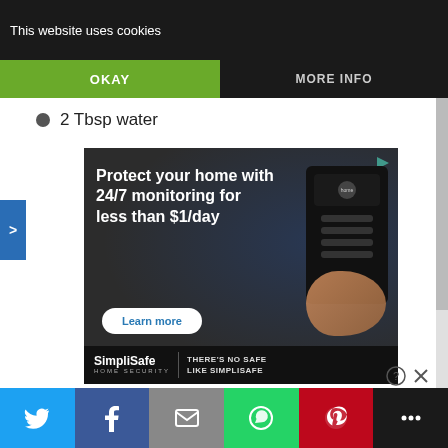This website uses cookies
OKAY
MORE INFO
2 Tbsp water
[Figure (other): SimpliSafe advertisement. Text reads: Protect your home with 24/7 monitoring for less than $1/day. Learn more button. Bottom: SimpliSafe HOME SECURITY | THERE'S NO SAFE LIKE SIMPLISAFE]
Social share bar: Twitter, Facebook, Email, WhatsApp, Pinterest, More